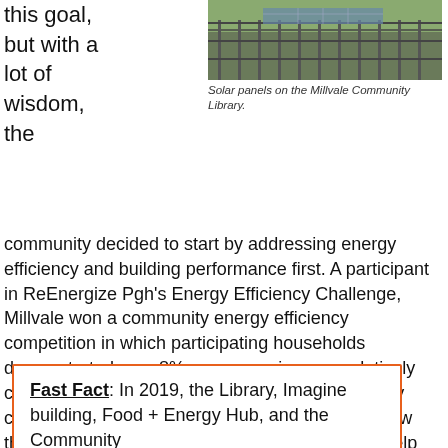this goal, but with a lot of wisdom, the
[Figure (photo): Photo of solar panels on the roof of the Millvale Community Library building]
Solar panels on the Millvale Community Library.
community decided to start by addressing energy efficiency and building performance first. A participant in ReEnergize Pgh's Energy Efficiency Challenge, Millvale won a community energy efficiency competition in which participating households demonstrated over 8% energy savings cumulatively compared to the previous year. Residents not only changed their behavior, but also learned about how they can make improvements to their homes to help improve performance.
Fast Fact: In 2019, the Library, Imagine building, Food + Energy Hub, and the Community